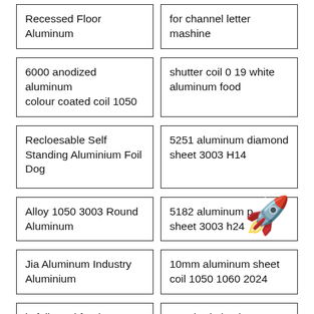Recessed Floor Aluminum
for channel letter mashine
6000 anodized aluminum colour coated coil 1050
shutter coil 0 19 white aluminum food
Recloesable Self Standing Aluminium Foil Dog
5251 aluminum diamond sheet 3003 H14
Alloy 1050 3003 Round Aluminum
5182 aluminum plate sheet 3003 h24
Jia Aluminum Industry Aluminium
10mm aluminum sheet coil 1050 1060 2024
is foil used for the cookie...
standard aluminum...